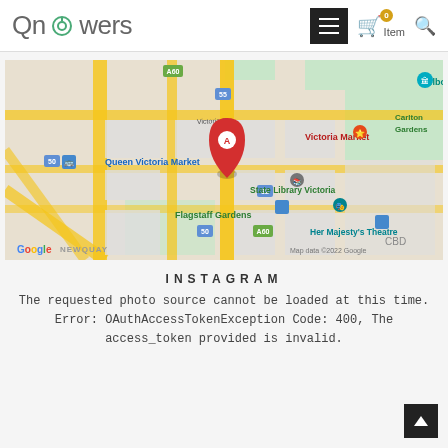QnFlowers — (0) Item [menu] [search]
[Figure (map): Google Maps screenshot showing Melbourne CBD area with a red pin marker (A) near Queen Victoria Market / Victoria St, showing landmarks: Melbourne Museum, Victoria Market, Carlton Gardens, State Library Victoria, Flagstaff Gardens, Her Majesty's Theatre, CBD. Map data ©2022 Google.]
INSTAGRAM
The requested photo source cannot be loaded at this time. Error: OAuthAccessTokenException Code: 400, The access_token provided is invalid.